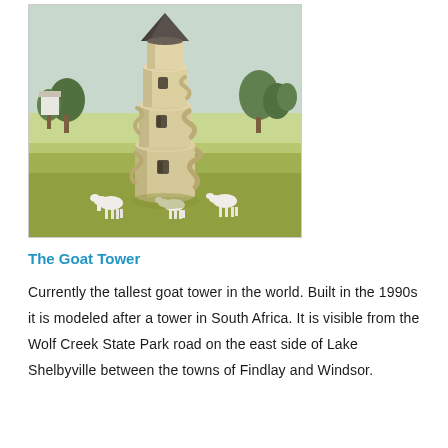[Figure (photo): A tall cylindrical goat tower with a conical dark roof, spiral ramps/ledges wrapping around the outside, and windows at multiple levels. Several white goats stand at the base. The tower stands in an open grassy field with trees in the background.]
The Goat Tower
Currently the tallest goat tower in the world. Built in the 1990s it is modeled after a tower in South Africa. It is visible from the Wolf Creek State Park road on the east side of Lake Shelbyville between the towns of Findlay and Windsor.